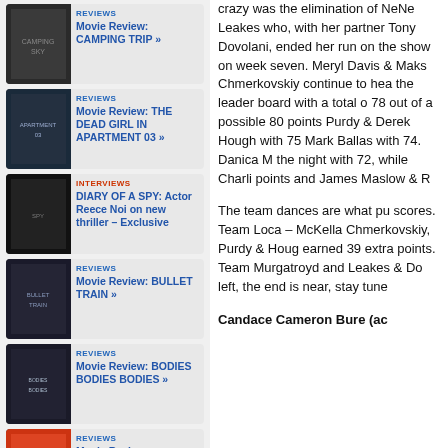REVIEWS – Movie Review: CAMPING TRIP »
REVIEWS – Movie Review: THE DEAD GIRL IN APARTMENT 03 »
INTERVIEWS – DIARY OF A SPY: Actor Reece Noi on new thriller – Exclusive
REVIEWS – Movie Review: BULLET TRAIN »
REVIEWS – Movie Review: BODIES BODIES BODIES »
REVIEWS – Movie Review: RESURRECTION »
crazy was the elimination of NeNe Leakes who, with her partner Tony Dovolani, ended her run on the show on week seven. Meryl Davis & Maks Chmerkovskiy continue to head the leader board with a total of 78 out of a possible 80 points. Purdy & Derek Hough with 75. Mark Ballas with 74. Danica McKellar topped the night with 72, while Charlie White picked up 71 points and James Maslow & Rina Hirano earned 70.
The team dances are what put them in a tizzy for scores. Team Loca – McKellar & Chmerkovskiy, Purdy & Hough earned 39 extra points. Team – Murgatroyd and Leakes & Dovolani left, the end is near, stay tuned.
Candace Cameron Bure (ac…